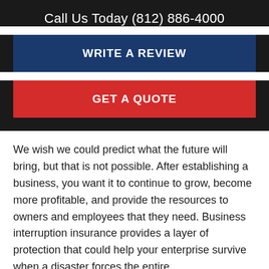Call Us Today (812) 886-4000
WRITE A REVIEW
GET A QUOTE
We wish we could predict what the future will bring, but that is not possible. After establishing a business, you want it to continue to grow, become more profitable, and provide the resources to owners and employees that they need. Business interruption insurance provides a layer of protection that could help your enterprise survive when a disaster forces the entire